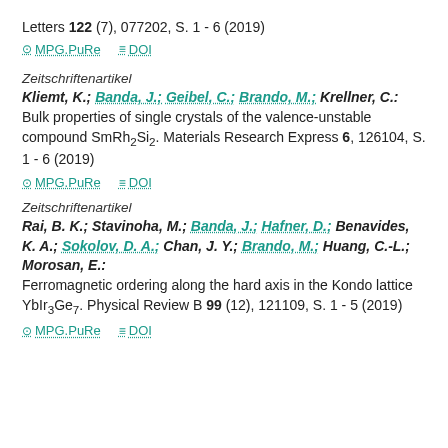Letters 122 (7), 077202, S. 1 - 6 (2019)
MPG.PuRe   DOI
Zeitschriftenartikel
Kliemt, K.; Banda, J.; Geibel, C.; Brando, M.; Krellner, C.: Bulk properties of single crystals of the valence-unstable compound SmRh2Si2. Materials Research Express 6, 126104, S. 1 - 6 (2019)
MPG.PuRe   DOI
Zeitschriftenartikel
Rai, B. K.; Stavinoha, M.; Banda, J.; Hafner, D.; Benavides, K. A.; Sokolov, D. A.; Chan, J. Y.; Brando, M.; Huang, C.-L.; Morosan, E.: Ferromagnetic ordering along the hard axis in the Kondo lattice YbIr3Ge7. Physical Review B 99 (12), 121109, S. 1 - 5 (2019)
MPG.PuRe   DOI